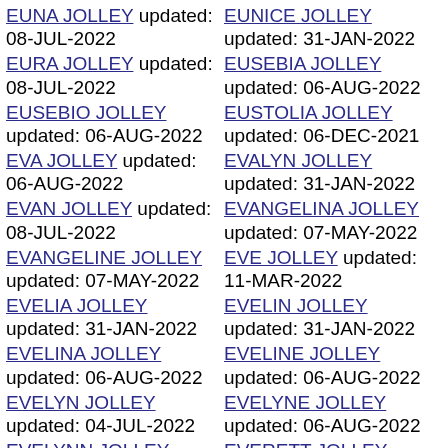EUNA JOLLEY updated: 08-JUL-2022
EURA JOLLEY updated: 08-JUL-2022
EUSEBIO JOLLEY updated: 06-AUG-2022
EVA JOLLEY updated: 06-AUG-2022
EVAN JOLLEY updated: 08-JUL-2022
EVANGELINE JOLLEY updated: 07-MAY-2022
EVELIA JOLLEY updated: 31-JAN-2022
EVELINA JOLLEY updated: 06-AUG-2022
EVELYN JOLLEY updated: 04-JUL-2022
EVELYNN JOLLEY updated: 06-AUG-2022
EUNICE JOLLEY updated: 31-JAN-2022
EUSEBIA JOLLEY updated: 06-AUG-2022
EUSTOLIA JOLLEY updated: 06-DEC-2021
EVALYN JOLLEY updated: 31-JAN-2022
EVANGELINA JOLLEY updated: 07-MAY-2022
EVE JOLLEY updated: 11-MAR-2022
EVELIN JOLLEY updated: 31-JAN-2022
EVELINE JOLLEY updated: 06-AUG-2022
EVELYNE JOLLEY updated: 06-AUG-2022
EVERETT JOLLEY updated: 06-AUG-2022